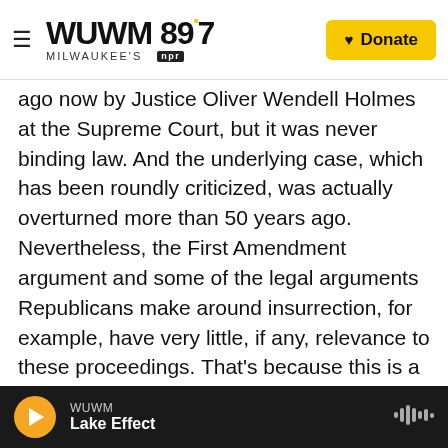WUWM 89.7 MILWAUKEE'S NPR | Donate
ago now by Justice Oliver Wendell Holmes at the Supreme Court, but it was never binding law. And the underlying case, which has been roundly criticized, was actually overturned more than 50 years ago. Nevertheless, the First Amendment argument and some of the legal arguments Republicans make around insurrection, for example, have very little, if any, relevance to these proceedings. That's because this is a political process, not a legal one. It's about prosecuting someone based on a narrow - it's not about prosecuting someone based on a narrow legal statute. It's about whether President Trump upheld
WUWM Lake Effect